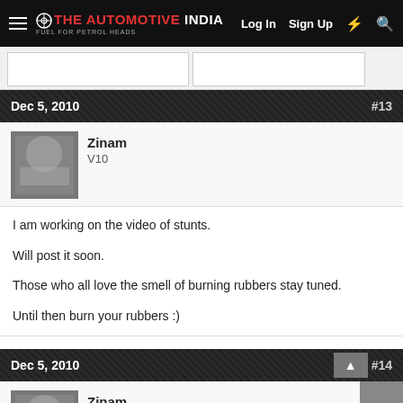THE AUTOMOTIVE INDIA — Log In  Sign Up
Dec 5, 2010   #13
Zinam
V10
I am working on the video of stunts.

Will post it soon.

Those who all love the smell of burning rubbers stay tuned.

Until then burn your rubbers :)
Dec 5, 2010   #14
Zinam
V10